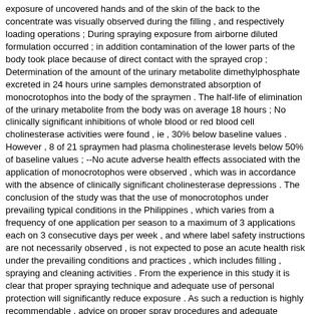exposure of uncovered hands and of the skin of the back to the concentrate was visually observed during the filling , and respectively loading operations ; During spraying exposure from airborne diluted formulation occurred ; in addition contamination of the lower parts of the body took place because of direct contact with the sprayed crop ; Determination of the amount of the urinary metabolite dimethylphosphate excreted in 24 hours urine samples demonstrated absorption of monocrotophos into the body of the spraymen . The half-life of elimination of the urinary metabolite from the body was on average 18 hours ; No clinically significant inhibitions of whole blood or red blood cell cholinesterase activities were found , ie , 30% below baseline values . However , 8 of 21 spraymen had plasma cholinesterase levels below 50% of baseline values ; --No acute adverse health effects associated with the application of monocrotophos were observed , which was in accordance with the absence of clinically significant cholinesterase depressions . The conclusion of the study was that the use of monocrotophos under prevailing typical conditions in the Philippines , which varies from a frequency of one application per season to a maximum of 3 applications each on 3 consecutive days per week , and where label safety instructions are not necessarily observed , is not expected to pose an acute health risk under the prevailing conditions and practices , which includes filling , spraying and cleaning activities . From the experience in this study it is clear that proper spraying technique and adequate use of personal protection will significantly reduce exposure . As such a reduction is highly recommendable , advice on proper spray procedures and adequate personal protection has been reinforced .
Matching Sentences:
[ Sen. 2, subscore: 3.00 ]: The findings of the study were as follows : exposure of uncovered hands and of the skin of the back to the